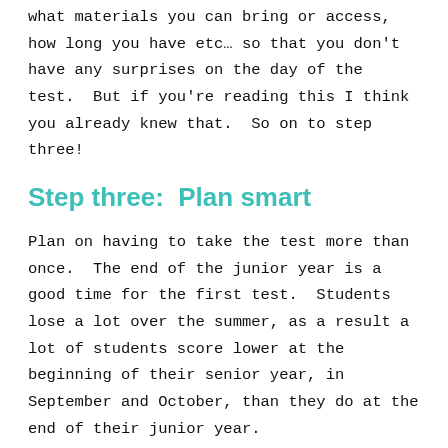what materials you can bring or access, how long you have etc… so that you don't have any surprises on the day of the test.  But if you're reading this I think you already knew that.  So on to step three!
Step three:  Plan smart
Plan on having to take the test more than once.  The end of the junior year is a good time for the first test.  Students lose a lot over the summer, as a result a lot of students score lower at the beginning of their senior year, in September and October, than they do at the end of their junior year.